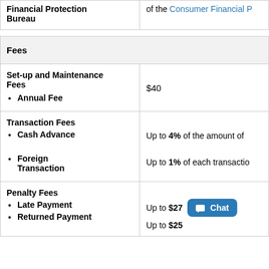|  |  |
| --- | --- |
| Financial Protection Bureau | of the Consumer Financial P… |
| Fees |  |
| Set-up and Maintenance Fees
• Annual Fee | $40 |
| Transaction Fees
• Cash Advance

• Foreign Transaction | Up to 4% of the amount of…

Up to 1% of each transactio… |
| Penalty Fees
• Late Payment
• Returned Payment | Up to $27  [Chat]
Up to $25 |